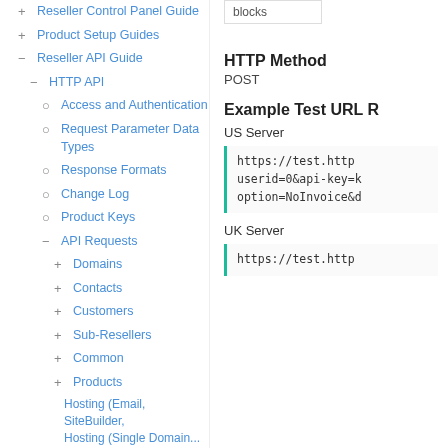+ Reseller Control Panel Guide
+ Product Setup Guides
- Reseller API Guide
- HTTP API
○ Access and Authentication
○ Request Parameter Data Types
○ Response Formats
○ Change Log
○ Product Keys
- API Requests
+ Domains
+ Contacts
+ Customers
+ Sub-Resellers
+ Common
+ Products
Hosting (Email, SiteBuilder, Hosting (Single Domain...
blocks
HTTP Method
POST
Example Test URL R
US Server
https://test.http
userid=0&api-key=k
option=NoInvoice&d
UK Server
https://test.http